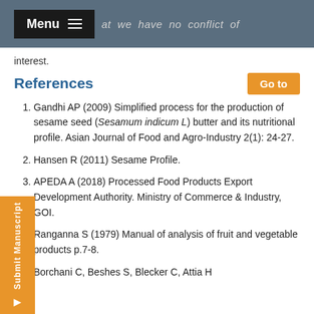Menu  ...at we have no conflict of interest.
interest.
References
Gandhi AP (2009) Simplified process for the production of sesame seed (Sesamum indicum L) butter and its nutritional profile. Asian Journal of Food and Agro-Industry 2(1): 24-27.
Hansen R (2011) Sesame Profile.
APEDA A (2018) Processed Food Products Export Development Authority. Ministry of Commerce & Industry, GOI.
Ranganna S (1979) Manual of analysis of fruit and vegetable products p.7-8.
Borchani C, Beshes S, Blecker C, Attia H